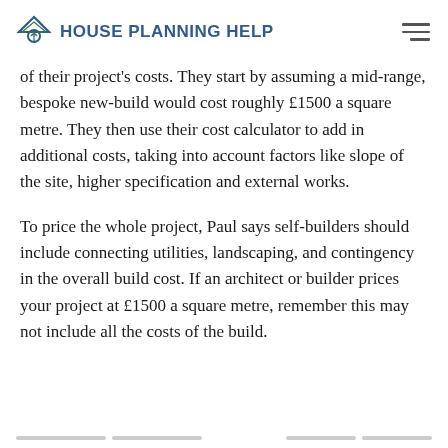House Planning Help
of their project's costs. They start by assuming a mid-range, bespoke new-build would cost roughly £1500 a square metre. They then use their cost calculator to add in additional costs, taking into account factors like slope of the site, higher specification and external works.
To price the whole project, Paul says self-builders should include connecting utilities, landscaping, and contingency in the overall build cost. If an architect or builder prices your project at £1500 a square metre, remember this may not include all the costs of the build.